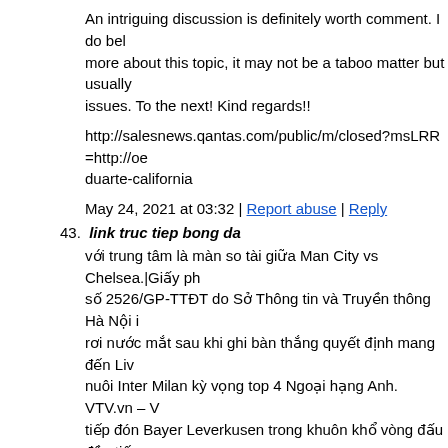An intriguing discussion is definitely worth comment. I do believe more about this topic, it may not be a taboo matter but usually issues. To the next! Kind regards!!
http://salesnews.qantas.com/public/m/closed?msLRR=http://o... duarte-california
May 24, 2021 at 03:32 | Report abuse | Reply
43. link truc tiep bong da
với trung tâm là màn so tài giữa Man City vs Chelsea.|Giấy p... số 2526/GP-TTĐT do Sở Thông tin và Truyền thông Hà Nội ... rơi nước mắt sau khi ghi bàn thắng quyết định mang đến Liv... nuôi Inter Milan kỳ vọng top 4 Ngoại hạng Anh. VTV.vn – V... tiếp đón Bayer Leverkusen trong khuôn khổ vòng đấu đầu tiê... Cheng Hoe cho biết, ông không quan tâm đến đến tác dụng c... trong cuộc tranh vé đi tiếp ở trên bảng
https://bundesligafans.com
May 24, 2021 at 03:42 | Report abuse | Reply
44. Tembepteriope
where to buy cialis without prescription https://cttadalafil.com... price usa tadalafil cheap cialis pills for sale